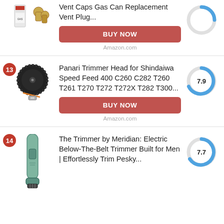[Figure (photo): Partial product listing showing gas can vent caps with BUY NOW button and Amazon.com label, with score circle partially visible]
Vent Caps Gas Can Replacement Vent Plug...
BUY NOW
Amazon.com
[Figure (photo): Product listing item 13: Panari Trimmer Head for Shindaiwa Speed Feed 400 C260 C282 T260 T261 T270 T272 T272X T282 T300... with score 7.9]
Panari Trimmer Head for Shindaiwa Speed Feed 400 C260 C282 T260 T261 T270 T272 T272X T282 T300...
BUY NOW
Amazon.com
[Figure (photo): Product listing item 14: The Trimmer by Meridian: Electric Below-The-Belt Trimmer Built for Men | Effortlessly Trim Pesky... with score 7.7]